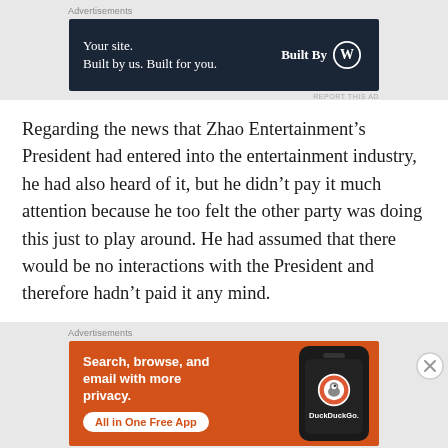[Figure (screenshot): WordPress advertisement banner: 'Your site. Built by us. Built for you.' with Built By WordPress logo on dark navy background]
Regarding the news that Zhao Entertainment's President had entered into the entertainment industry, he had also heard of it, but he didn't pay it much attention because he too felt the other party was doing this just to play around. He had assumed that there would be no interactions with the President and therefore hadn't paid it any mind.
[Figure (screenshot): DuckDuckGo advertisement banner: 'Search, browse, and email with more privacy. All in One Free App' on orange background with phone graphic showing DuckDuckGo logo]